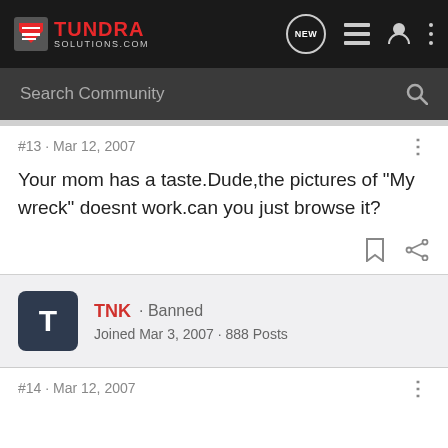TUNDRA SOLUTIONS.COM — navigation header with search bar
#13 · Mar 12, 2007
Your mom has a taste.Dude,the pictures of "My wreck" doesnt work.can you just browse it?
TNK · Banned
Joined Mar 3, 2007 · 888 Posts
#14 · Mar 12, 2007